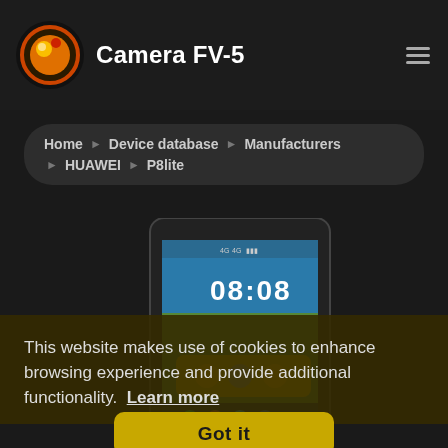Camera FV-5
Home ▶ Device database ▶ Manufacturers ▶ HUAWEI ▶ P8lite
[Figure (screenshot): HUAWEI P8lite smartphone displaying home screen with time 08:08, semi-transparent cookie consent overlay with Got it button]
This website makes use of cookies to enhance browsing experience and provide additional functionality.  Learn more
Got it